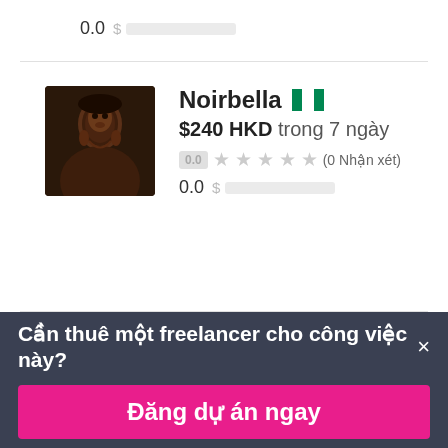0.0  $ [blurred]
[Figure (photo): Profile photo of Noirbella, dark-skinned woman]
Noirbella 🇳🇬
$240 HKD trong 7 ngày
0.0 ★★★★★ (0 Nhận xét)
0.0  $ [blurred]
Cần thuê một freelancer cho công việc này? ×
Đăng dự án ngay